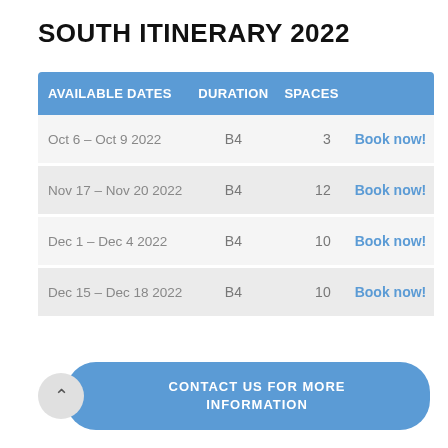SOUTH ITINERARY 2022
| AVAILABLE DATES | DURATION | SPACES |  |
| --- | --- | --- | --- |
| Oct 6 – Oct 9 2022 | B4 | 3 | Book now! |
| Nov 17 – Nov 20 2022 | B4 | 12 | Book now! |
| Dec 1 – Dec 4 2022 | B4 | 10 | Book now! |
| Dec 15 – Dec 18 2022 | B4 | 10 | Book now! |
CONTACT US FOR MORE INFORMATION